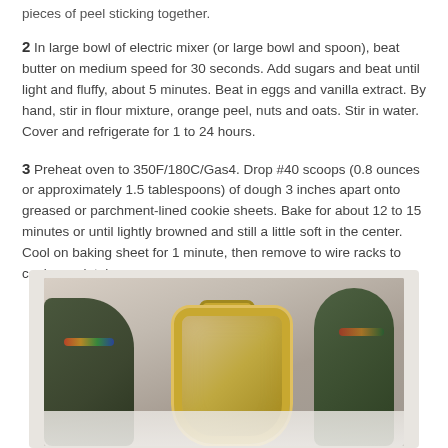pieces of peel sticking together.
2 In large bowl of electric mixer (or large bowl and spoon), beat butter on medium speed for 30 seconds. Add sugars and beat until light and fluffy, about 5 minutes. Beat in eggs and vanilla extract. By hand, stir in flour mixture, orange peel, nuts and oats. Stir in water. Cover and refrigerate for 1 to 24 hours.
3 Preheat oven to 350F/180C/Gas4. Drop #40 scoops (0.8 ounces or approximately 1.5 tablespoons) of dough 3 inches apart onto greased or parchment-lined cookie sheets. Bake for about 12 to 15 minutes or until lightly browned and still a little soft in the center. Cool on baking sheet for 1 minute, then remove to wire racks to cool completely.
[Figure (photo): Photo of decorative figurines and a gold-framed mirror on a white cloth surface, with Christmas/holiday decorations.]